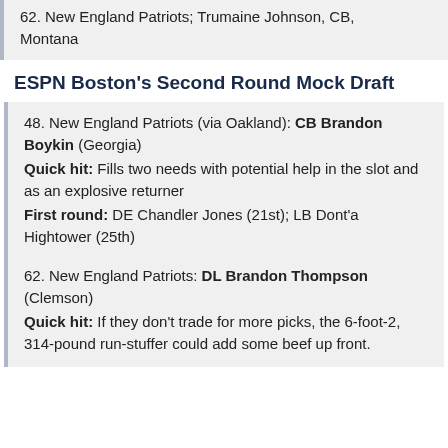62. New England Patriots; Trumaine Johnson, CB, Montana
ESPN Boston's Second Round Mock Draft
48. New England Patriots (via Oakland): CB Brandon Boykin (Georgia)
Quick hit: Fills two needs with potential help in the slot and as an explosive returner
First round: DE Chandler Jones (21st); LB Dont'a Hightower (25th)
62. New England Patriots: DL Brandon Thompson (Clemson)
Quick hit: If they don't trade for more picks, the 6-foot-2, 314-pound run-stuffer could add some beef up front.